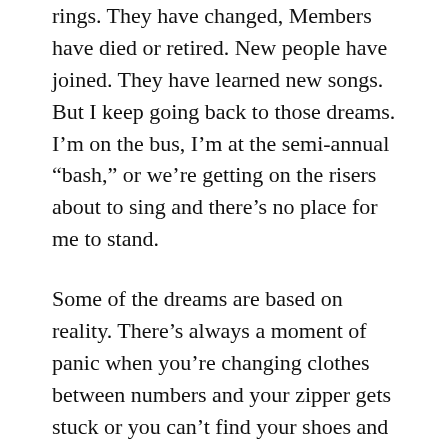rings. They have changed, Members have died or retired. New people have joined. They have learned new songs. But I keep going back to those dreams. I’m on the bus, I’m at the semi-annual “bash,” or we’re getting on the risers about to sing and there’s no place for me to stand.
Some of the dreams are based on reality. There’s always a moment of panic when you’re changing clothes between numbers and your zipper gets stuck or you can’t find your shoes and you’re terrified you’re not going to get back to the stage on time—but I always did. Yes, your music goes missing, you suddenly can’t remember the second verse, you trip coming down the aisle, the strap breaks on